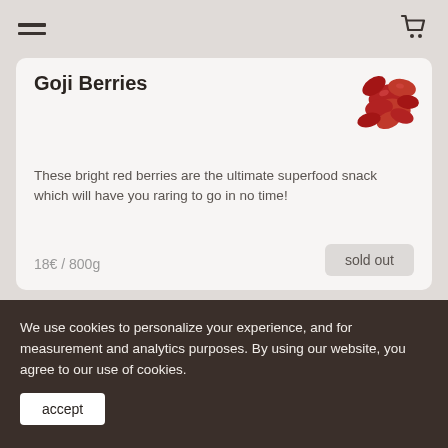navigation header with hamburger menu and cart icon
Goji Berries
[Figure (photo): Pile of dried red goji berries]
These bright red berries are the ultimate superfood snack which will have you raring to go in no time!
18€ / 800g
sold out
Cranberries
[Figure (photo): Pile of dried cranberries]
We use cookies to personalize your experience, and for measurement and analytics purposes. By using our website, you agree to our use of cookies.
accept